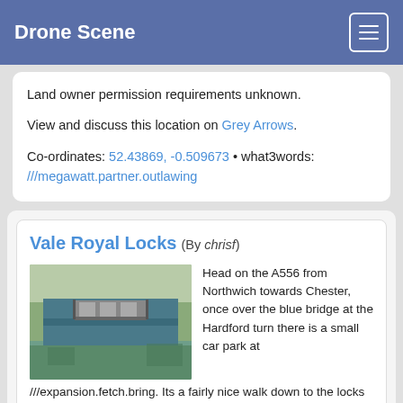Drone Scene
Land owner permission requirements unknown.
View and discuss this location on Grey Arrows.
Co-ordinates: 52.43869, -0.509673 • what3words: ///megawatt.partner.outlawing
Vale Royal Locks (By chrisf)
[Figure (photo): Aerial drone photo of Vale Royal Locks showing canal locks, water, and surrounding trees from above.]
Head on the A556 from Northwich towards Chester, once over the blue bridge at the Hardford turn there is a small car park at ///expansion.fetch.bring. Its a fairly nice walk down to the locks or you can drive although it's supposed to be private for the fishing club only.